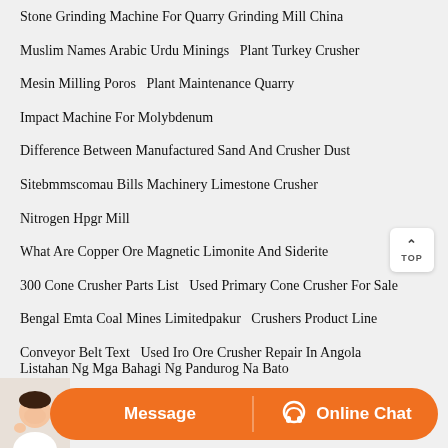Stone Grinding Machine For Quarry Grinding Mill China
Muslim Names Arabic Urdu Minings   Plant Turkey Crusher
Mesin Milling Poros   Plant Maintenance Quarry
Impact Machine For Molybdenum
Difference Between Manufactured Sand And Crusher Dust
Sitebmmscomau Bills Machinery Limestone Crusher
Nitrogen Hpgr Mill
What Are Copper Ore Magnetic Limonite And Siderite
300 Cone Crusher Parts List   Used Primary Cone Crusher For Sale
Bengal Emta Coal Mines Limitedpakur   Crushers Product Line
Conveyor Belt Text   Used Iro Ore Crusher Repair In Angola
Listahan Ng Mga Bahagi Ng Pandurog Na Bato
Sanfight Pot Son Crusher   Pluginless Raymond Roller Mill